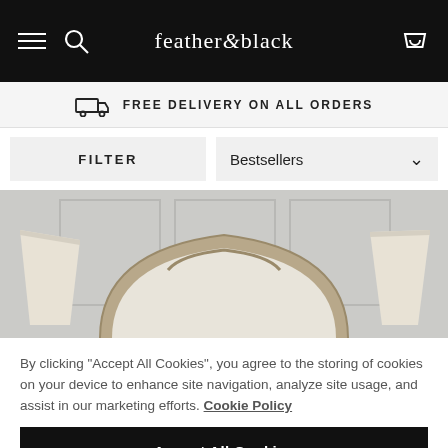feather & black
FREE DELIVERY ON ALL ORDERS
FILTER
Bestsellers
[Figure (photo): Upholstered bed headboard in cream/beige fabric with carved wooden frame surround, flanked by two cream pleated table lamps, against a panelled grey wall.]
By clicking "Accept All Cookies", you agree to the storing of cookies on your device to enhance site navigation, analyze site usage, and assist in our marketing efforts. Cookie Policy
Accept All Cookies
Cookies Settings